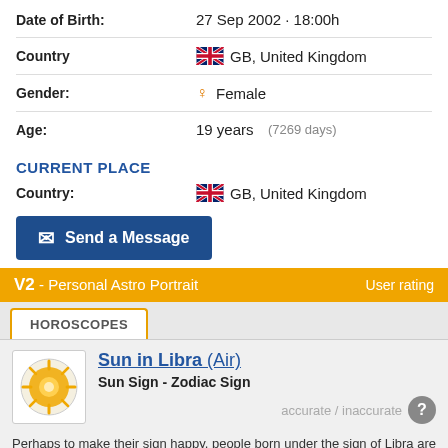Date of Birth: 27 Sep 2002 · 18:00h
Country: GB, United Kingdom
Gender: Female
Age: 19 years (7269 days)
CURRENT PLACE
Country: GB, United Kingdom
Send a Message
V2 - Personal Astro Portrait
User rating
HOROSCOPES
Sun in Libra (Air)
Sun Sign - Zodiac Sign
accurate / inaccurate
Perhaps to make their sign happy, people born under the sign of Libra are usually prudent, balanced and harmonious. In any case, they think before they do.